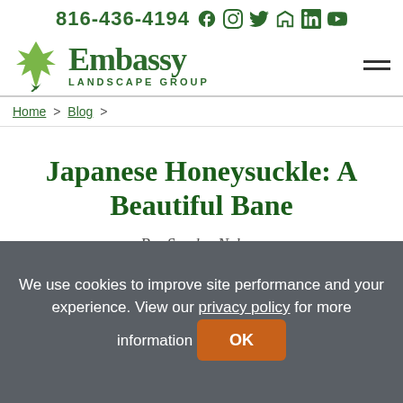816-436-4194
[Figure (logo): Embassy Landscape Group logo with maple leaf icon]
Home > Blog >
Japanese Honeysuckle: A Beautiful Bane
By: Sandra Nelson
We use cookies to improve site performance and your experience. View our privacy policy for more information OK